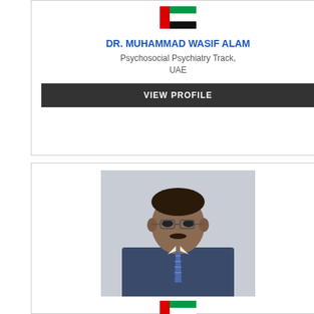[Figure (photo): UAE flag icon shown above Dr. Muhammad Wasif Alam name]
DR. MUHAMMAD WASIF ALAM
Psychosocial Psychiatry Track,
UAE
VIEW PROFILE
[Figure (photo): Photo of Dr. Talaat Matar, a man wearing glasses and a suit, with UAE flag below]
DR. TALAAT MATAR